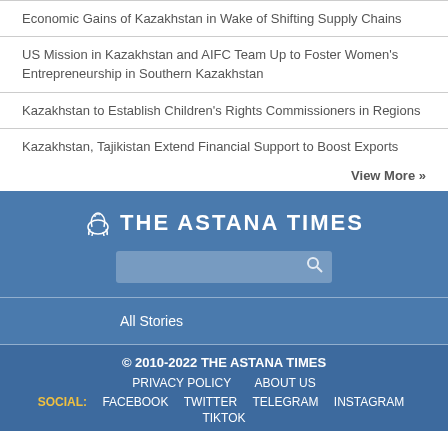Economic Gains of Kazakhstan in Wake of Shifting Supply Chains
US Mission in Kazakhstan and AIFC Team Up to Foster Women's Entrepreneurship in Southern Kazakhstan
Kazakhstan to Establish Children's Rights Commissioners in Regions
Kazakhstan, Tajikistan Extend Financial Support to Boost Exports
View More »
[Figure (logo): The Astana Times logo with horse icon and publication name]
All Stories
© 2010-2022 THE ASTANA TIMES
PRIVACY POLICY   ABOUT US
SOCIAL: FACEBOOK   TWITTER   TELEGRAM   INSTAGRAM   TIKTOK